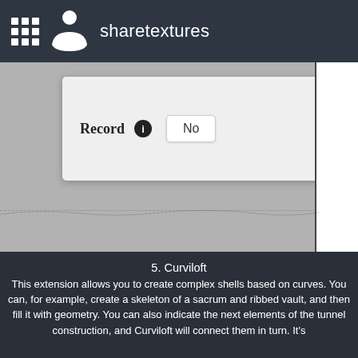sharetextures
[Figure (screenshot): Mobile app screenshot showing a settings dialog with a 'Record' label, an info icon, and a toggle button set to 'No'. Background is grey with a white panel on the right edge.]
5. Curviloft
This extension allows you to create complex shells based on curves. You can, for example, create a skeleton of a sacrum and ribbed vault, and then fill it with geometry. You can also indicate the next elements of the tunnel construction, and Curviloft will connect them in turn. It's